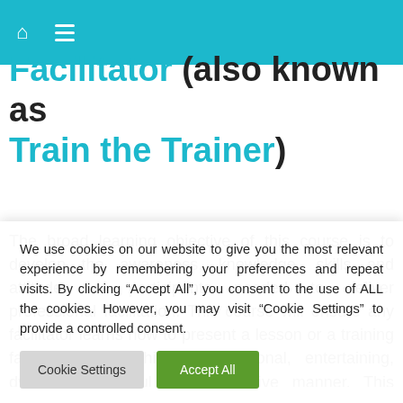Facilitator (also known as Train the Trainer)
The broad learning objective of this course is to develop the awareness, knowledge, skills and attitudes of participants needed to deliver professional facilitation. This course will ensure any facilitator learns how to present a lesson or a training facilitation in a highly professional, entertaining, dynamic, impactful and interactive manner. This course is
We use cookies on our website to give you the most relevant experience by remembering your preferences and repeat visits. By clicking “Accept All”, you consent to the use of ALL the cookies. However, you may visit “Cookie Settings” to provide a controlled consent.